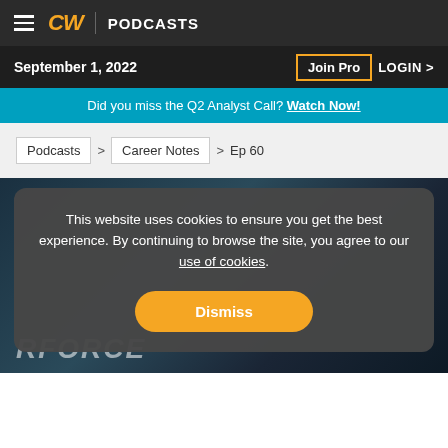CW PODCASTS
September 1, 2022
Join Pro  LOGIN >
Did you miss the Q2 Analyst Call? Watch Now!
Podcasts > Career Notes > Ep 60
[Figure (screenshot): Dark teal background image with partial text 'RFORCE' visible at bottom left]
This website uses cookies to ensure you get the best experience. By continuing to browse the site, you agree to our use of cookies.
Dismiss